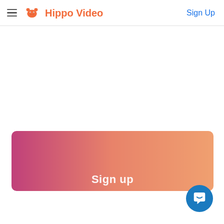Hippo Video — Sign Up
[Figure (illustration): Gradient banner with pink-to-orange gradient background and partially visible 'Sign up' text in white]
[Figure (illustration): Blue circular chat/support button with white speech bubble icon in bottom-right corner]